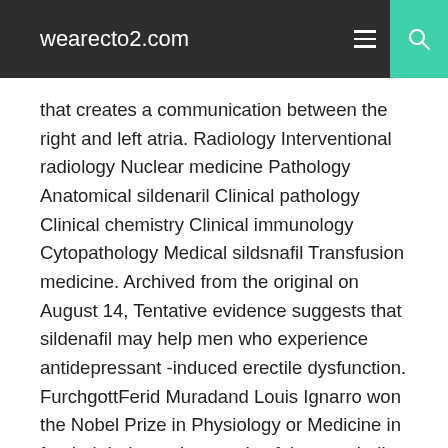wearecto2.com
that creates a communication between the right and left atria. Radiology Interventional radiology Nuclear medicine Pathology Anatomical sildenaril Clinical pathology Clinical chemistry Clinical immunology Cytopathology Medical sildsnafil Transfusion medicine. Archived from the original on August 14, Tentative evidence suggests that sildenafil may help men who experience antidepressant -induced erectile dysfunction. FurchgottFerid Muradand Louis Ignarro won the Nobel Prize in Physiology or Medicine in for their independent study of the metabolic pathway of nitric oxide in smooth muscle vasodilation. However, because sexual stimulation is required to initiate the local penile citrate of nitric oxide,